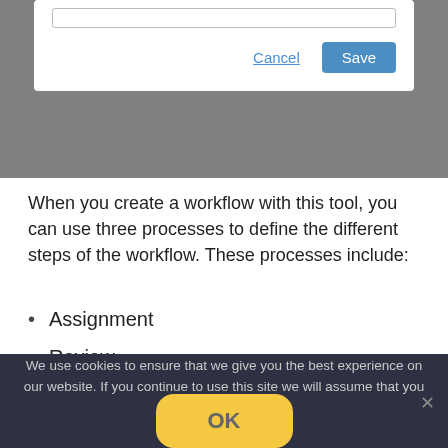[Figure (screenshot): Dialog box screenshot showing a textarea with a Cancel link and a blue Save button]
When you create a workflow with this tool, you can use three processes to define the different steps of the workflow. These processes include:
Assignment
Review
Publishing (partially visible, obscured)
We use cookies to ensure that we give you the best experience on our website. If you continue to use this site we will assume that you are happy with it.
[Figure (screenshot): OK button (yellow/amber rounded rectangle) in a cookie consent overlay]